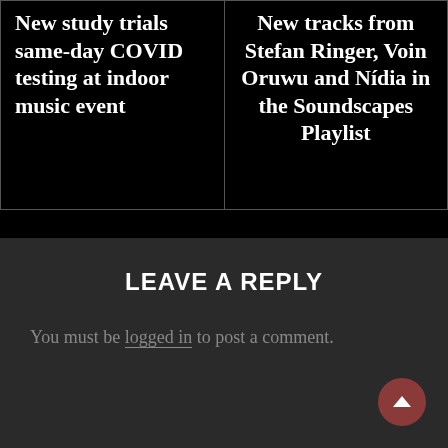New study trials same-day COVID testing at indoor music event
New tracks from Stefan Ringer, Voin Oruwu and Nídia in the Soundscapes Playlist
LEAVE A REPLY
You must be logged in to post a comment.